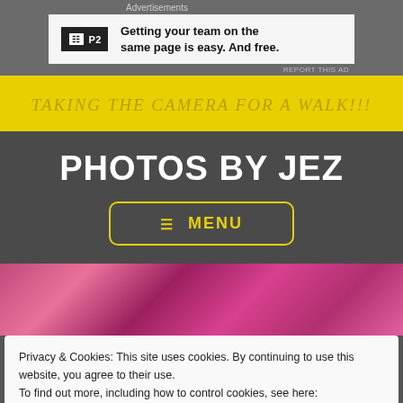Advertisements
[Figure (other): P2 advertisement banner: logo with grid icon and text 'Getting your team on the same page is easy. And free.']
REPORT THIS AD
TAKING THE CAMERA FOR A WALK!!!
PHOTOS BY JEZ
≡ MENU
[Figure (photo): Pink/purple flower background visible behind cookie notice]
Privacy & Cookies: This site uses cookies. By continuing to use this website, you agree to their use.
To find out more, including how to control cookies, see here: Cookie Policy
Close and accept